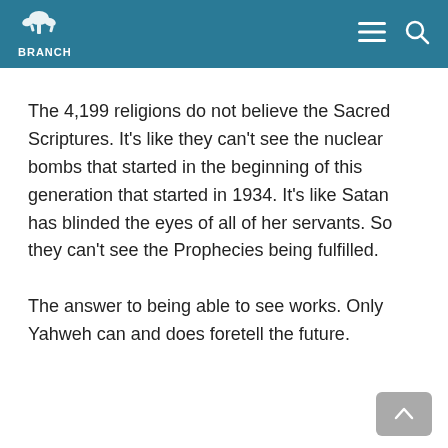BRANCH
The 4,199 religions do not believe the Sacred Scriptures. It’s like they can’t see the nuclear bombs that started in the beginning of this generation that started in 1934. It’s like Satan has blinded the eyes of all of her servants. So they can’t see the Prophecies being fulfilled.
The answer to being able to see works. Only Yahweh can and does foretell the future.